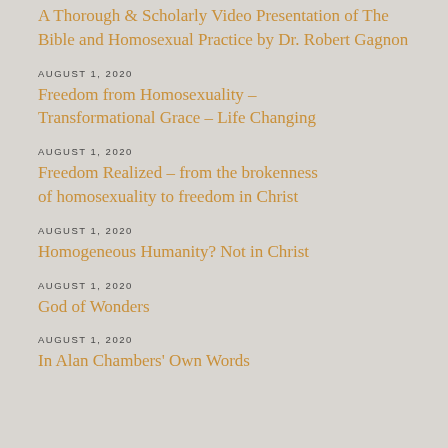A Thorough & Scholarly Video Presentation of The Bible and Homosexual Practice by Dr. Robert Gagnon
AUGUST 1, 2020
Freedom from Homosexuality – Transformational Grace – Life Changing
AUGUST 1, 2020
Freedom Realized – from the brokenness of homosexuality to freedom in Christ
AUGUST 1, 2020
Homogeneous Humanity? Not in Christ
AUGUST 1, 2020
God of Wonders
AUGUST 1, 2020
In Alan Chambers' Own Words